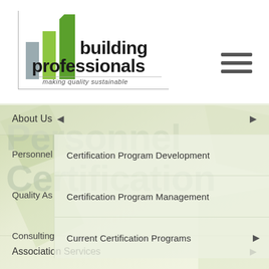[Figure (logo): Building Professionals logo with green building icon and tagline 'making quality sustainable']
About Us
Personnel Certification Program Development
Certification Program Management
Current Certification Programs
Association Services